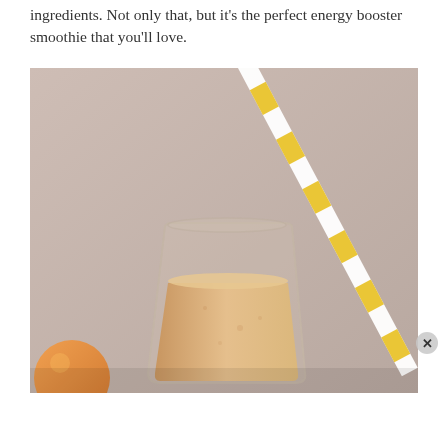ingredients. Not only that, but it's the perfect energy booster smoothie that you'll love.
[Figure (photo): A glass of peach/orange smoothie with a yellow and white striped straw, photographed against a soft pink-beige background. A partial orange/peach fruit is visible at the bottom left. The glass is clear and shows the creamy light-orange smoothie inside.]